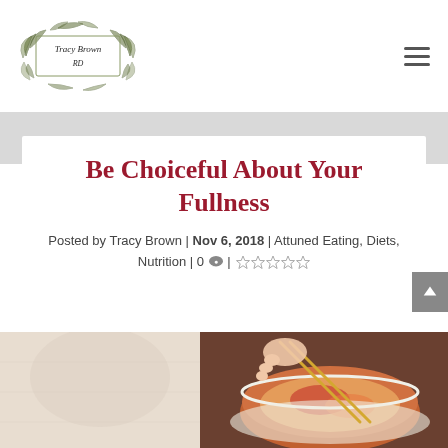[Figure (logo): Tracy Brown RD logo with botanical/leaf illustration surrounding handwritten-style text]
Be Choiceful About Your Fullness
Posted by Tracy Brown | Nov 6, 2018 | Attuned Eating, Diets, Nutrition | 0 💬 | ☆☆☆☆☆
[Figure (photo): Book cover showing 'Be Choiceful About Your Fullness' title in dark red on left; right side shows hands using chopsticks to pick food from a bowl, photographed from above]